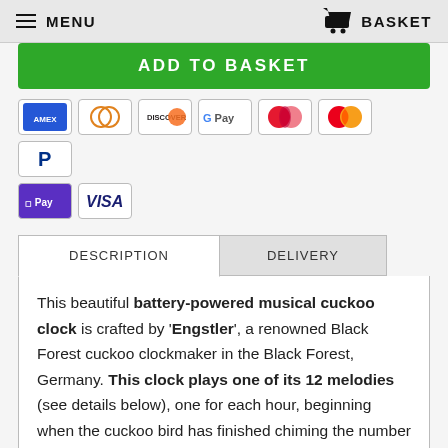MENU   BASKET
[Figure (other): Green Add to Basket button (partially visible at top)]
[Figure (other): Payment method icons: American Express, Diners Club, Discover, Google Pay, Maestro, Mastercard, PayPal, Apple Pay, Visa]
[Figure (other): Tab navigation: DESCRIPTION (active/white) and DELIVERY (inactive/grey)]
This beautiful battery-powered musical cuckoo clock is crafted by 'Engstler', a renowned Black Forest cuckoo clockmaker in the Black Forest, Germany. This clock plays one of its 12 melodies (see details below), one for each hour, beginning when the cuckoo bird has finished chiming the number of hours.